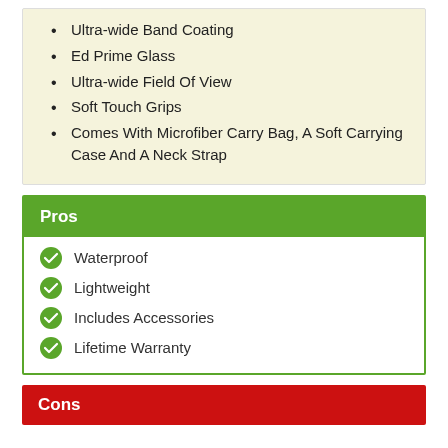Ultra-wide Band Coating
Ed Prime Glass
Ultra-wide Field Of View
Soft Touch Grips
Comes With Microfiber Carry Bag, A Soft Carrying Case And A Neck Strap
Pros
Waterproof
Lightweight
Includes Accessories
Lifetime Warranty
Cons